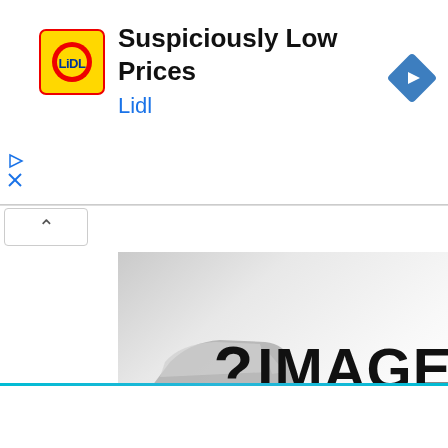[Figure (screenshot): Lidl advertisement banner with Lidl logo, text 'Suspiciously Low Prices' and 'Lidl' in blue, navigation arrow icon top right, and close/collapse controls on left]
[Figure (photo): Car listing placeholder image showing a silver hatchback car on the left partially visible, with a paper-curl effect revealing an 'IMAGE COMING SOON' graphic with large bold text and question mark]